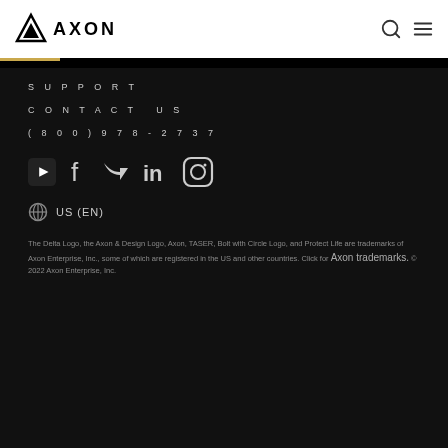[Figure (logo): Axon logo with delta triangle and AXON wordmark in black on white header bar]
SUPPORT
CONTACT US
(800)978-2737
[Figure (illustration): Social media icons row: YouTube, Facebook, Twitter, LinkedIn, Instagram]
🌐  US (EN)
The Delta Logo, the Axon & Design Logo, Axon, TASER, Bolt with Circle Logo, and Protect Life are trademarks of Axon Enterprise, Inc., some of which are registered in the US and other countries. Click for Axon trademarks. © 2022 Axon Enterprise, Inc.